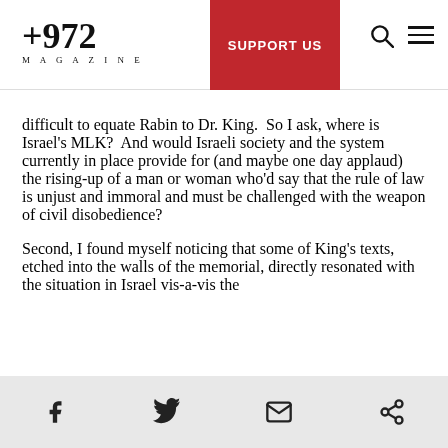+972 MAGAZINE | SUPPORT US
difficult to equate Rabin to Dr. King.  So I ask, where is Israel's MLK?  And would Israeli society and the system currently in place provide for (and maybe one day applaud) the rising-up of a man or woman who'd say that the rule of law is unjust and immoral and must be challenged with the weapon of civil disobedience?
Second, I found myself noticing that some of King's texts, etched into the walls of the memorial, directly resonated with the situation in Israel vis-a-vis the
Social share icons: Facebook, Twitter, Email, Link